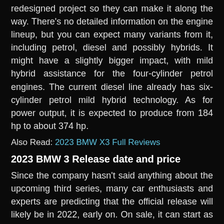redesigned project so they can make it along the way. There's no detailed information on the engine lineup, but you can expect many variants from it, including petrol, diesel and possibly hybrids. It might have a slightly bigger impact, with mild hybrid assistance for the four-cylinder petrol engines. The current diesel line already has six-cylinder petrol mild hybrid technology. As for power output, it is expected to produce from 184 hp to about 374 hp.
Also Read: 2023 BMW X3 Full Reviews
2023 BMW 3 Release date and price
Since the company hasn't said anything about the upcoming third series, many car enthusiasts and experts are predicting that the official release will likely be in 2022, early on. On sale, it can start as late as the same year. Because of the updates, prices are likely to go up. The base can start around $38,200 while the top price is around